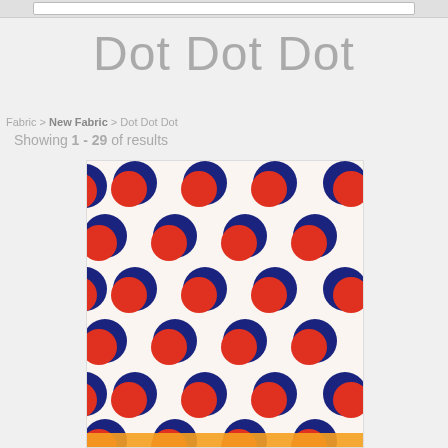Dot Dot Dot
Fabric > New Fabric > Dot Dot Dot
Showing 1 - 29 of results
[Figure (photo): Fabric pattern with overlapping red and dark navy blue polka dots on a cream/off-white background, arranged in a repeating grid. An orange bar appears at the bottom of the image.]